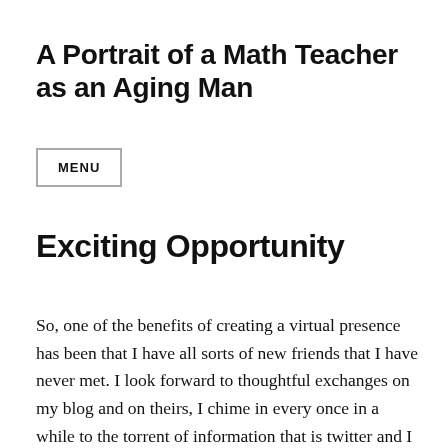A Portrait of a Math Teacher as an Aging Man
MENU
Exciting Opportunity
So, one of the benefits of creating a virtual presence has been that I have all sorts of new friends that I have never met. I look forward to thoughtful exchanges on my blog and on theirs, I chime in every once in a while to the torrent of information that is twitter and I am